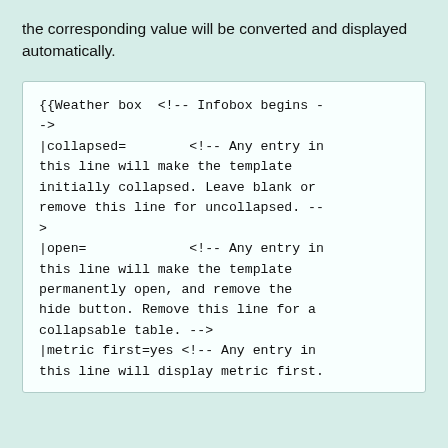the corresponding value will be converted and displayed automatically.
{{Weather box  <!-- Infobox begins -->
|collapsed=        <!-- Any entry in this line will make the template initially collapsed. Leave blank or remove this line for uncollapsed. -->
|open=             <!-- Any entry in this line will make the template permanently open, and remove the hide button. Remove this line for a collapsable table. -->
|metric first=yes <!-- Any entry in this line will display metric first.